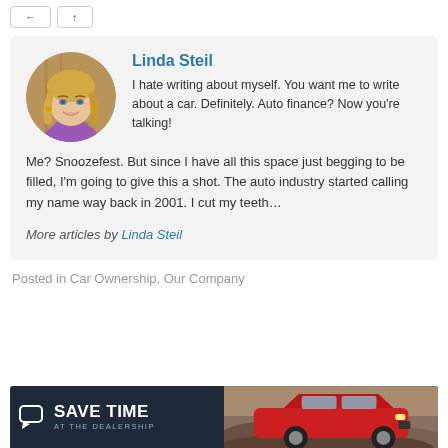[Figure (other): Two small UI buttons at top of page]
[Figure (photo): Circular profile photo of Linda Steil, a blonde woman smiling, wearing purple]
Linda Steil
I hate writing about myself. You want me to write about a car. Definitely. Auto finance? Now you're talking! Me? Snoozefest. But since I have all this space just begging to be filled, I'm going to give this a shot. The auto industry started calling my name way back in 2001. I cut my teeth…
More articles by Linda Steil
Posted in Car Ownership, Our Company
[Figure (screenshot): Advertisement banner: 'SAVE TIME AT THE DEALERSHIP' with chat bubble icon on dark navy background, with image of red SUV on rocky terrain on the right]